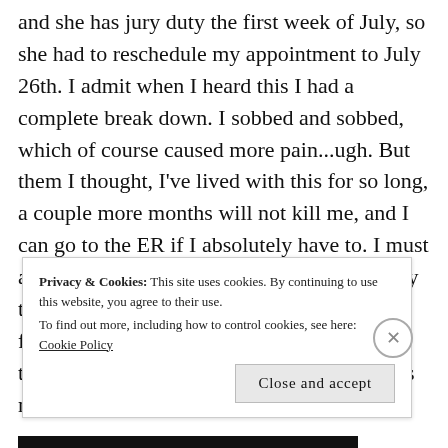and she has jury duty the first week of July, so she had to reschedule my appointment to July 26th. I admit when I heard this I had a complete break down. I sobbed and sobbed, which of course caused more pain...ugh. But them I thought, I've lived with this for so long, a couple more months will not kill me, and I can go to the ER if I absolutely have to. I must admit though, I'm afraid to go to the ER, they treat migraine patients like drug seekers or fakers, the bright lights and noise there is torture, the stress of waiting hours....it makes me worse before they make it better.
Privacy & Cookies: This site uses cookies. By continuing to use this website, you agree to their use.
To find out more, including how to control cookies, see here: Cookie Policy